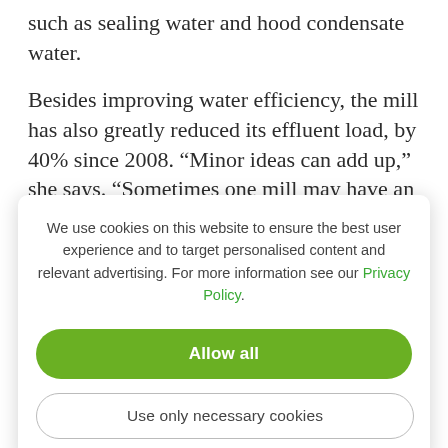such as sealing water and hood condensate water.
Besides improving water efficiency, the mill has also greatly reduced its effluent load, by 40% since 2008. “Minor ideas can add up,” she says. “Sometimes one mill may have an idea that isn’t
[Figure (screenshot): Cookie consent dialog overlay with text: 'We use cookies on this website to ensure the best user experience and to target personalised content and relevant advertising. For more information see our Privacy Policy.' Two buttons: 'Allow all' (green) and 'Use only necessary cookies' (outlined).]
an opportunity to network and learn from each